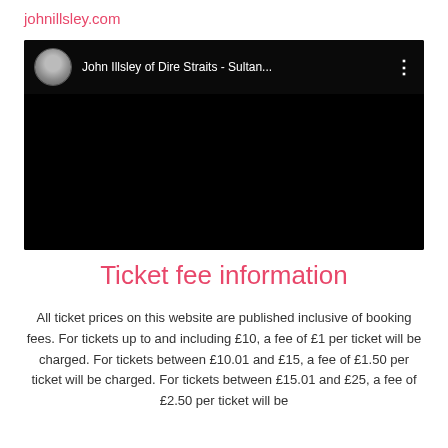johnillsley.com
[Figure (screenshot): Embedded YouTube-style video player showing 'John Illsley of Dire Straits - Sultan...' with a circular avatar thumbnail on the left and a three-dot menu icon on the right. The main video area is black.]
Ticket fee information
All ticket prices on this website are published inclusive of booking fees. For tickets up to and including £10, a fee of £1 per ticket will be charged. For tickets between £10.01 and £15, a fee of £1.50 per ticket will be charged. For tickets between £15.01 and £25, a fee of £2.50 per ticket will be